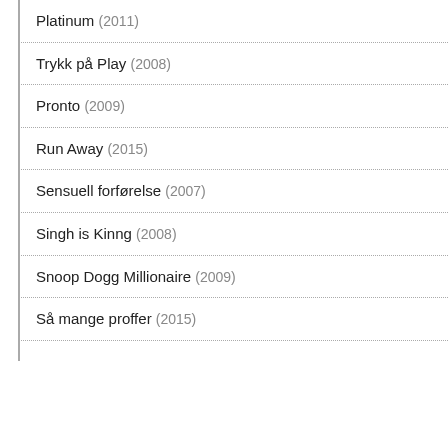Platinum (2011)
Trykk på Play (2008)
Pronto (2009)
Run Away (2015)
Sensuell forførelse (2007)
Singh is Kinng (2008)
Snoop Dogg Millionaire (2009)
Så mange proffer (2015)